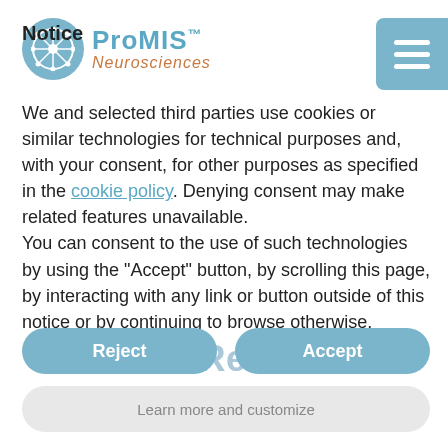Notice
We and selected third parties use cookies or similar technologies for technical purposes and, with your consent, for other purposes as specified in the cookie policy. Denying consent may make related features unavailable.
You can consent to the use of such technologies by using the “Accept” button, by scrolling this page, by interacting with any link or button outside of this notice or by continuing to browse otherwise.
Reject
Accept
Press Releases
Learn more and customize